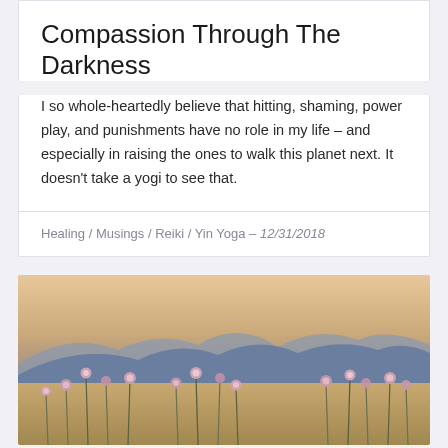Compassion Through The Darkness
I so whole-heartedly believe that hitting, shaming, power play, and punishments have no role in my life – and especially in raising the ones to walk this planet next. It doesn't take a yogi to see that.
Healing / Musings / Reiki / Yin Yoga – 12/31/2018
[Figure (photo): A field of pink wildflowers in the foreground with blue-purple mountain range in the background under a warm hazy sky.]